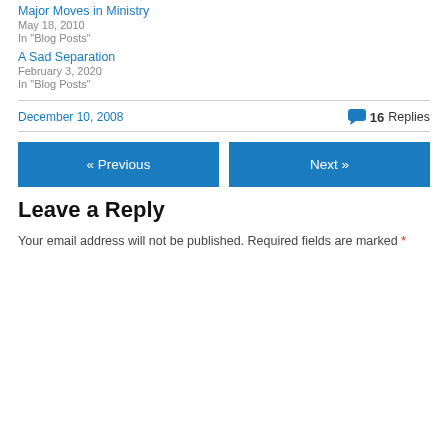Major Moves in Ministry
May 18, 2010
In "Blog Posts"
A Sad Separation
February 3, 2020
In "Blog Posts"
December 10, 2008
16 Replies
« Previous
Next »
Leave a Reply
Your email address will not be published. Required fields are marked *